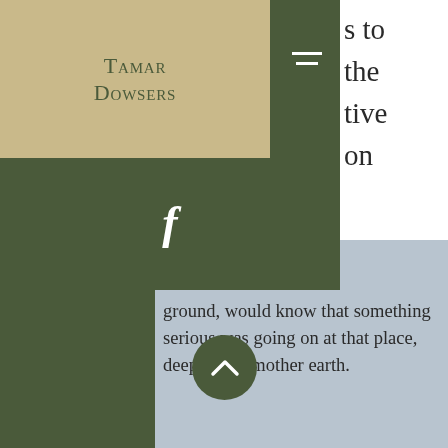Tamar Dowsers
[Figure (logo): Tamar Dowsers logo text on tan/khaki background with dark green navigation overlay and Facebook icon]
s to the tive on
ground, would know that something serious was going on at that place, deep inside mother earth.
It is worth noting at this point that some holy wells are not actually wells at all, but natural springs, or even redirected water flows reaching the surface at elsewhere with more convenient access for the local community. This